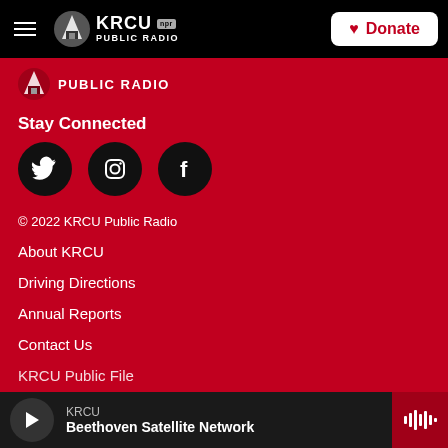KRCU NPR PUBLIC RADIO | Donate
[Figure (logo): KRCU Public Radio logo with building icon and NPR badge]
PUBLIC RADIO
Stay Connected
[Figure (illustration): Three social media icons: Twitter, Instagram, Facebook in black circles]
© 2022 KRCU Public Radio
About KRCU
Driving Directions
Annual Reports
Contact Us
KRCU Public File
KRCU | Beethoven Satellite Network